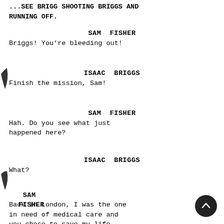...SEE BRIGG SHOOTING BRIGGS AND RUNNING OFF.
SAM FISHER
Briggs! You're bleeding out!
ISAAC BRIGGS
Finish the mission, Sam!
SAM FISHER
Hah. Do you see what just happened here?
ISAAC BRIGGS
What?
SAM FISHER
Back in London, I was the one in need of medical care and you chose to save my life